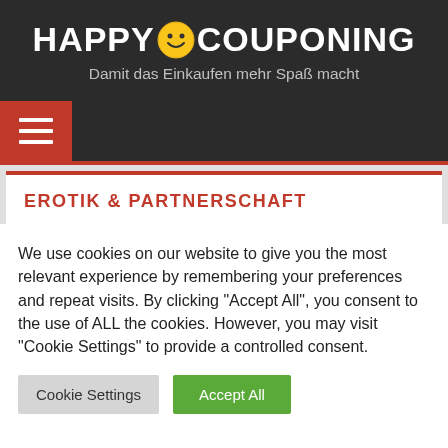HAPPY COUPONING
Damit das Einkaufen mehr Spaß macht
EROTIK & PARTNERSCHAFT
We use cookies on our website to give you the most relevant experience by remembering your preferences and repeat visits. By clicking "Accept All", you consent to the use of ALL the cookies. However, you may visit "Cookie Settings" to provide a controlled consent.
Cookie Settings | Accept All